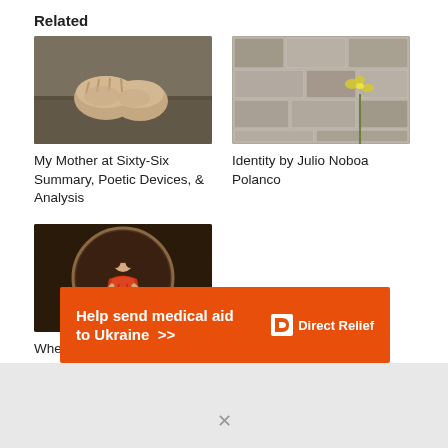Related
[Figure (photo): Close-up photo of elderly hands folded together, wearing checkered clothing]
My Mother at Sixty-Six Summary, Poetic Devices, & Analysis
[Figure (photo): Photo of a stone wall with a small yellow flower growing from a crack]
Identity by Julio Noboa Polanco
[Figure (photo): Painting of a woman in a red dress inside a circular frame]
When Death Comes by Mary Oliver
[Figure (other): Advertisement banner: Help send medical aid to Ukraine >> Direct Relief logo]